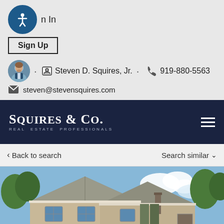Sign In
Sign Up
Steven D. Squires, Jr. · 919-880-5563
steven@stevensquires.com
SQUIRES & CO. REAL ESTATE PROFESSIONALS
< Back to search    Search similar >
[Figure (photo): Exterior photo of a residential house with gabled rooflines, beige siding, and blue sky with trees in background]